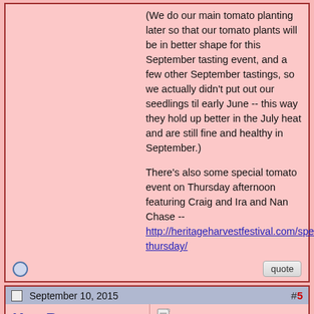(We do our main tomato planting later so that our tomato plants will be in better shape for this September tasting event, and a few other September tastings, so we actually didn't put out our seedlings til early June -- this way they hold up better in the July heat and are still fine and healthy in September.)

There's also some special tomato event on Thursday afternoon featuring Craig and Ira and Nan Chase -- http://heritageharvestfestival.com/special-thursday/
September 10, 2015  #5
Ken B
Tomatovillian™
Join Date: Jul 2011
Location: central Virginia
Posts: 243
Festival weekend is here! Forecast has been going back and forth, currently it's forecast to be dry all day tomorrow, then some chance of rain Saturday morning, with greater chance in the afternoon.